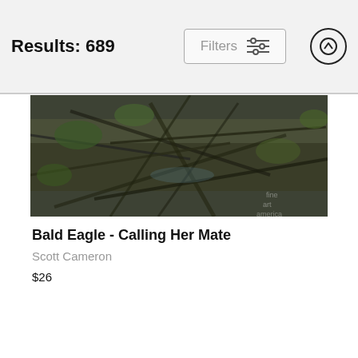Results: 689
[Figure (screenshot): Filters button with sliders icon and up-arrow circle button in header bar]
[Figure (photo): A photo of a bald eagle nest made of interwoven branches and sticks with green foliage visible, with a faint watermark in the bottom right corner]
Bald Eagle - Calling Her Mate
Scott Cameron
$26